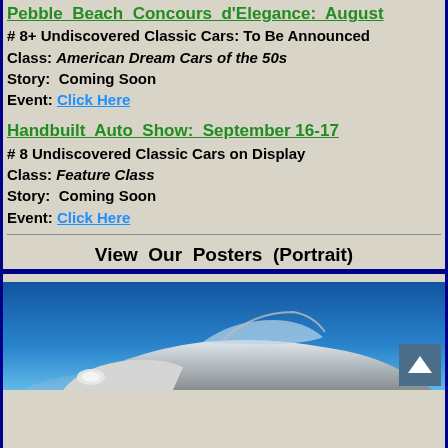Pebble Beach Concours d'Elegance: August
# 8+ Undiscovered Classic Cars: To Be Announced
Class: American Dream Cars of the 50s
Story: Coming Soon
Event: Click Here
Handbuilt Auto Show: September 16-17
# 8 Undiscovered Classic Cars on Display
Class: Feature Class
Story: Coming Soon
Event: Click Here
View Our Posters (Portrait)
[Figure (photo): A classic white/silver sports car photographed against a blue sky background, partially visible at the bottom of the page.]